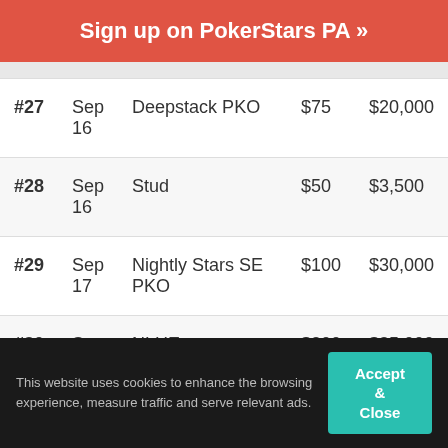Sign up on PokerStars PA »
|  |  |  |  |  |
| --- | --- | --- | --- | --- |
| #27 | Sep
16 | Deepstack PKO | $75 | $20,000 |
| #28 | Sep
16 | Stud | $50 | $3,500 |
| #29 | Sep
17 | Nightly Stars SE PKO | $100 | $30,000 |
| #30 | Sep
17 | NLHE | $200 | $35,000 |
This website uses cookies to enhance the browsing experience, measure traffic and serve relevant ads.
Accept & Close